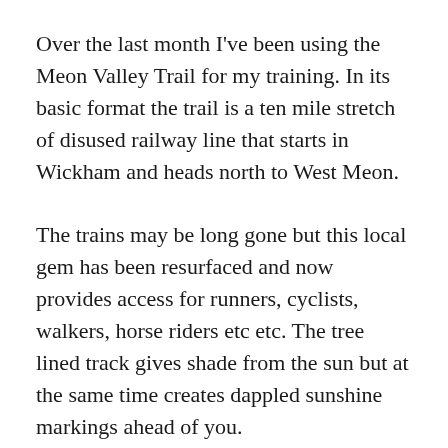Over the last month I've been using the Meon Valley Trail for my training. In its basic format the trail is a ten mile stretch of disused railway line that starts in Wickham and heads north to West Meon.
The trains may be long gone but this local gem has been resurfaced and now provides access for runners, cyclists, walkers, horse riders etc etc. The tree lined track gives shade from the sun but at the same time creates dappled sunshine markings ahead of you.
Numerous bridges break up the essentially straight pathway and you are constantly reminded that you're in the countryside with the birds in the trees, the occasional